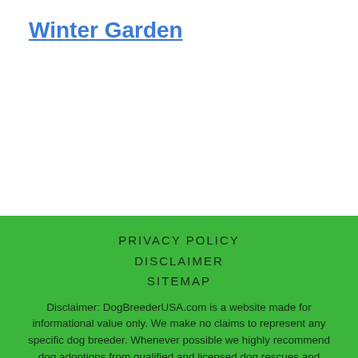Winter Garden
PRIVACY POLICY
DISCLAIMER
SITEMAP
Disclaimer: DogBreederUSA.com is a website made for informational value only. We make no claims to represent any specific dog breeder. Whenever possible we highly recommend dog adoptions from qualified and licensed dog rescues and shelters in your area.
Our mailing address:
Dog Breeder USA 208 Snow Ave Raleigh, NC 27603
Phone: (919) 301-9773
© 2020 dogbreederusa.com All rights reserved